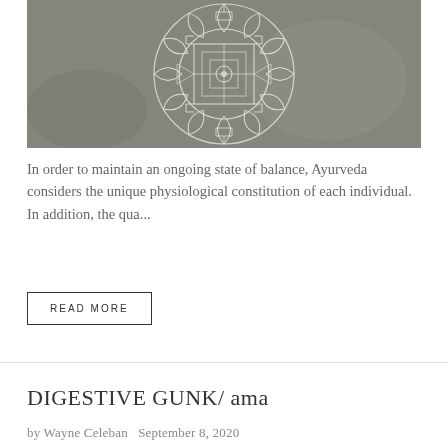[Figure (photo): A chalk-drawn mandala/yantra pattern on a grey stone or concrete surface, showing intricate geometric designs with lotus petals and linear patterns in white chalk.]
In order to maintain an ongoing state of balance, Ayurveda considers the unique physiological constitution of each individual. In addition, the qua...
READ MORE
DIGESTIVE GUNK/ ama
by Wayne Celeban   September 8, 2020